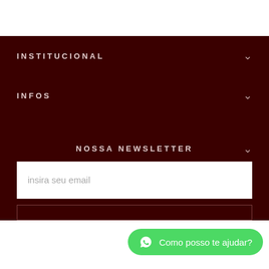INSTITUCIONAL
INFOS
NOSSA NEWSLETTER
insira seu email
Como posso te ajudar?